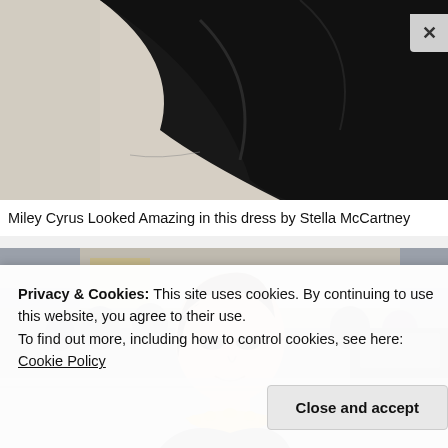[Figure (photo): Cropped photo of Miley Cyrus in a black dress by Stella McCartney, showing the flowing dark fabric from shoulders up, with a beige/stone wall background]
Miley Cyrus Looked Amazing in this dress by Stella McCartney
[Figure (photo): Photo of Kris Jenner at what appears to be a red carpet or public event, wearing a dark sheer top with a gold jeweled neckline, with crowds of photographers and a black SUV visible in the background]
Privacy & Cookies: This site uses cookies. By continuing to use this website, you agree to their use.
To find out more, including how to control cookies, see here: Cookie Policy
Close and accept